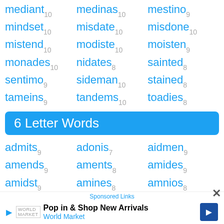mediant10 medinas10 mestino9
mindset10 misdate10 misdone10
mistend10 modiste10 moisten9
monades10 nidates8 sainted8
sentimo9 sideman10 stained8
tameins9 tandems10 toadies8
6 Letter Words
admits9 adonis7 aidmen9
amends9 aments8 amides9
amidst9 amines8 amnios8
animes8 anodes8 anomie8
Sponsored Links
Pop in & Shop New Arrivals
World Market